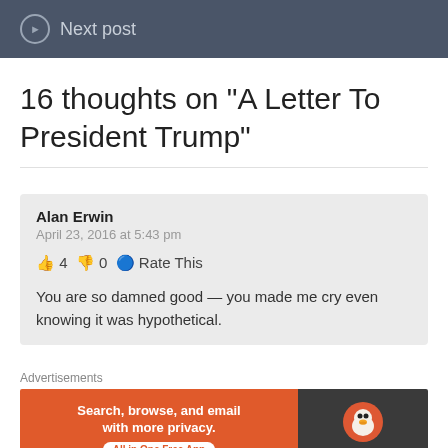Next post
16 thoughts on “A Letter To President Trump”
Alan Erwin
April 23, 2016 at 5:43 pm
👍 4 👎 0 ℹ Rate This
You are so damned good — you made me cry even knowing it was hypothetical.
Advertisements
[Figure (screenshot): DuckDuckGo advertisement banner: orange left panel with text 'Search, browse, and email with more privacy. All in One Free App', dark right panel with DuckDuckGo duck logo and brand name.]